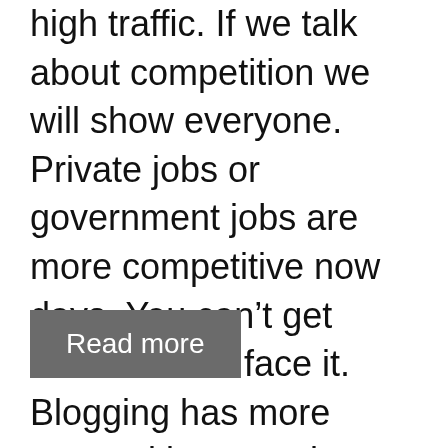high traffic. If we talk about competition we will show everyone. Private jobs or government jobs are more competitive now days. You can't get success with face it. Blogging has more competitive now days. Because of millions website are also available in google, ...
Read more